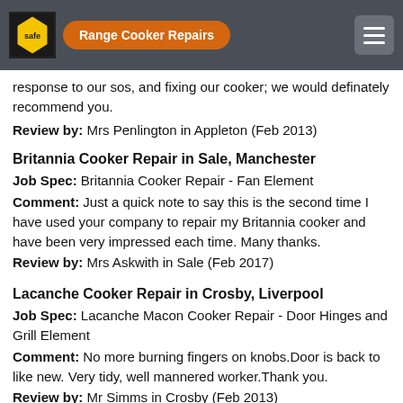Range Cooker Repairs
response to our sos, and fixing our cooker; we would definately recommend you.
Review by: Mrs Penlington in Appleton (Feb 2013)
Britannia Cooker Repair in Sale, Manchester
Job Spec: Britannia Cooker Repair - Fan Element
Comment: Just a quick note to say this is the second time I have used your company to repair my Britannia cooker and have been very impressed each time. Many thanks.
Review by: Mrs Askwith in Sale (Feb 2017)
Lacanche Cooker Repair in Crosby, Liverpool
Job Spec: Lacanche Macon Cooker Repair - Door Hinges and Grill Element
Comment: No more burning fingers on knobs.Door is back to like new. Very tidy, well mannered worker.Thank you.
Review by: Mr Simms in Crosby (Feb 2013)
Lacanche Cooker Repair in Halifax, West Yorkshire
Job Spec: Lacanche Cluny Range Cooker Repair
Comment: The engineer replaced the fan and door hinges on my oven and it works like new again, really pleased.